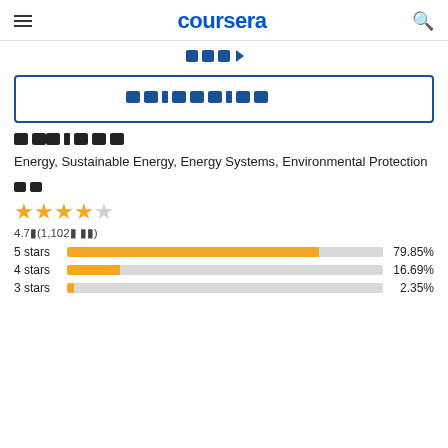coursera
[Figure (screenshot): Partial blue navigation/filter icons at top]
[Figure (screenshot): Filter box with redacted blue text]
[redacted] [redacted]
Energy, Sustainable Energy, Energy Systems, Environmental Protection
[redacted]
[Figure (bar-chart): Star ratings]